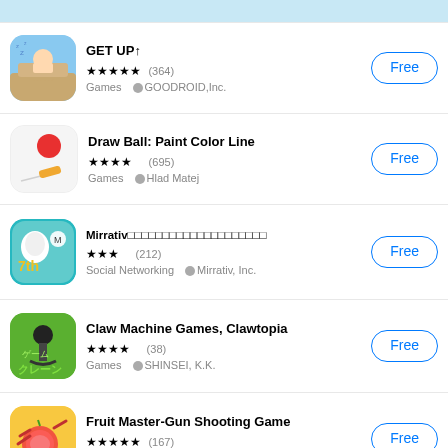[Figure (screenshot): Partial app icon at top of page]
GET UP↑ — ★★★★★ (364) — Games — GOODROID,Inc. — Free
Draw Ball: Paint Color Line — ★★★★ (695) — Games — Hlad Matej — Free
Mirrativ配信・ゲーム実況ライブ配信アプリ — ★★★ (212) — Social Networking — Mirrativ, Inc. — Free
Claw Machine Games, Clawtopia — ★★★★ (38) — Games — SHINSEI, K.K. — Free
Fruit Master-Gun Shooting Game — ★★★★★ (167) — Games — 개발사 — Free
Partial app entry at bottom of page